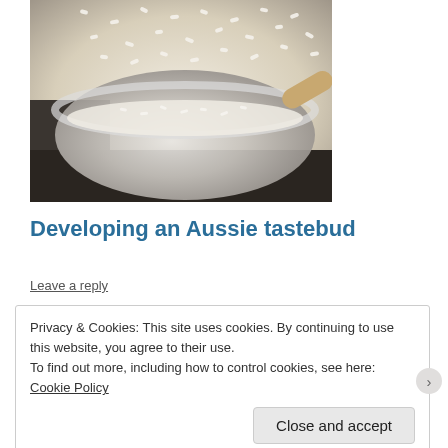[Figure (photo): Close-up photo of white rice grains in and around a white ceramic bowl]
Developing an Aussie tastebud
Leave a reply
Privacy & Cookies: This site uses cookies. By continuing to use this website, you agree to their use.
To find out more, including how to control cookies, see here: Cookie Policy
Close and accept